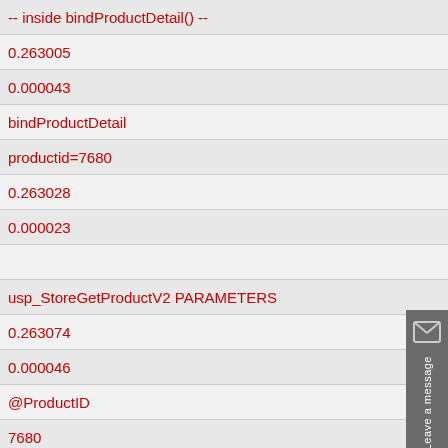-- inside bindProductDetail() --
0.263005
0.000043
bindProductDetail
productid=7680
0.263028
0.000023
usp_StoreGetProductV2 PARAMETERS
0.263074
0.000046
@ProductID
7680
0.263098
0.000024
@CatID